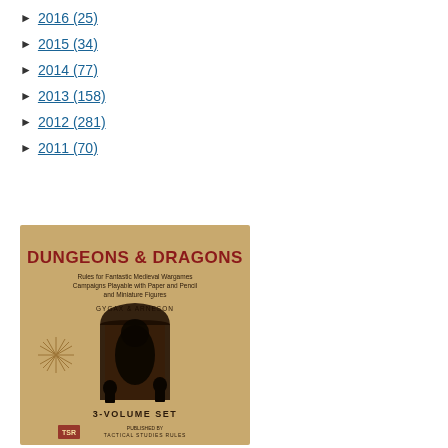► 2016 (25)
► 2015 (34)
► 2014 (77)
► 2013 (158)
► 2012 (281)
► 2011 (70)
[Figure (photo): Cover of the original Dungeons & Dragons 3-Volume Set booklet by Gygax & Arneson, published by Tactical Studies Rules. The cover shows the title 'DUNGEONS & DRAGONS' in red bold text, subtitle 'Rules for Fantastic Medieval Wargames Campaigns Playable with Paper and Pencil and Miniature Figures', authors 'GYGAX & ARNESON', a fantasy illustration with an arch doorway and dragon/creatures, '3-VOLUME SET' at the bottom, and the TSR logo. The background is tan/aged paper color.]